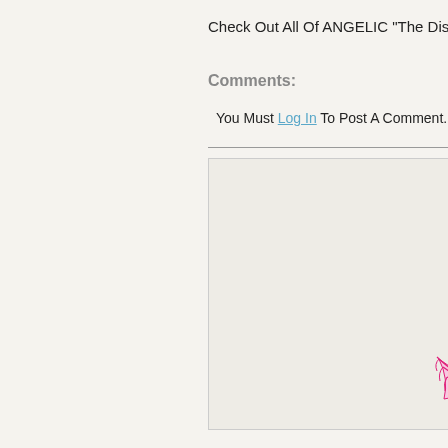Check Out All Of ANGELIC "The Dis
Comments:
You Must Log In To Post A Comment. S
[Figure (logo): Pink angel wings with yellow halo logo for ANGELIC The Distinct Boutique]
ANGELIC "The Distinct Boutique"
Posted By:
Location:
Storeboard C
Phone:
Description:
Website: